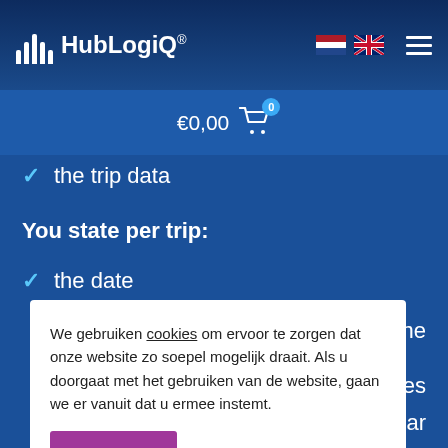HubLogiQ® — navigation bar with logo, flags (NL, UK), cart €0,00 with badge 0, and hamburger menu
✓ the trip data
You state per trip:
✓ the date
We gebruiken cookies om ervoor te zorgen dat onze website zo soepel mogelijk draait. Als u doorgaat met het gebruiken van de website, gaan we er vanuit dat u ermee instemt.
Akkoord